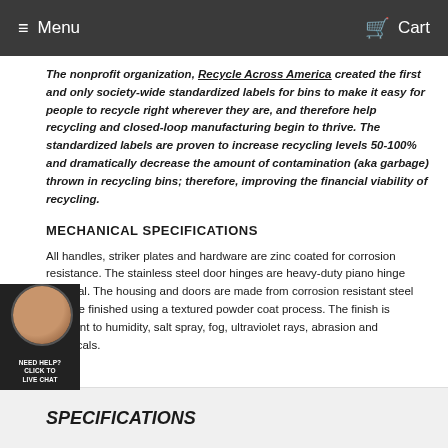Menu   Cart
The nonprofit organization, Recycle Across America created the first and only society-wide standardized labels for bins to make it easy for people to recycle right wherever they are, and therefore help recycling and closed-loop manufacturing begin to thrive. The standardized labels are proven to increase recycling levels 50-100% and dramatically decrease the amount of contamination (aka garbage) thrown in recycling bins; therefore, improving the financial viability of recycling.
MECHANICAL SPECIFICATIONS
All handles, striker plates and hardware are zinc coated for corrosion resistance. The stainless steel door hinges are heavy-duty piano hinge material. The housing and doors are made from corrosion resistant steel and are finished using a textured powder coat process. The finish is resistant to humidity, salt spray, fog, ultraviolet rays, abrasion and chemicals.
SPECIFICATIONS